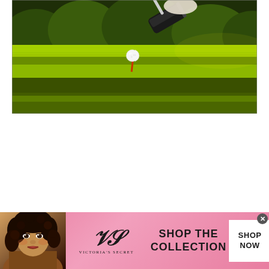[Figure (photo): Close-up photo of a golf ball on a tee with a golf club head approaching, set on a lush green golf course fairway with bright sunlight]
[Figure (photo): Victoria's Secret advertisement banner with a model on the left, the VS monogram logo and 'Victoria's Secret' text in the center-left, 'Shop the Collection' text in bold, and a 'Shop Now' white button on the right. Pink gradient background with close button in top right corner.]